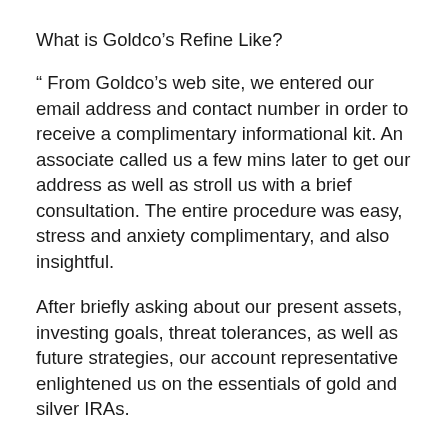What is Goldco’s Refine Like?
“ From Goldco’s web site, we entered our email address and contact number in order to receive a complimentary informational kit. An associate called us a few mins later to get our address as well as stroll us with a brief consultation. The entire procedure was easy, stress and anxiety complimentary, and also insightful.
After briefly asking about our present assets, investing goals, threat tolerances, as well as future strategies, our account representative enlightened us on the essentials of gold and silver IRAs.